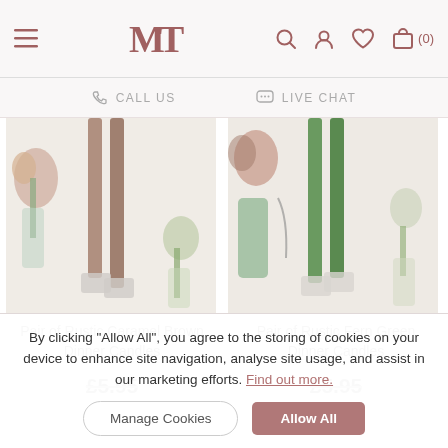MT logo, navigation icons: hamburger, search, account, wishlist, cart (0)
CALL US   LIVE CHAT
[Figure (photo): Pair of rustic caramel brown dinner candles in crystal holders with flowers in background]
[Figure (photo): Pair of rustic fern green dinner candles in crystal holders with flowers in background]
Pair of Rustic Caramel Brown Dinner Candles
Pair of Rustic Fern Green Dinner Candles
£5.95
£5.95
ADD TO BASKET
ADD TO BASKET
By clicking "Allow All", you agree to the storing of cookies on your device to enhance site navigation, analyse site usage, and assist in our marketing efforts. Find out more.
Allow All
Manage Cookies